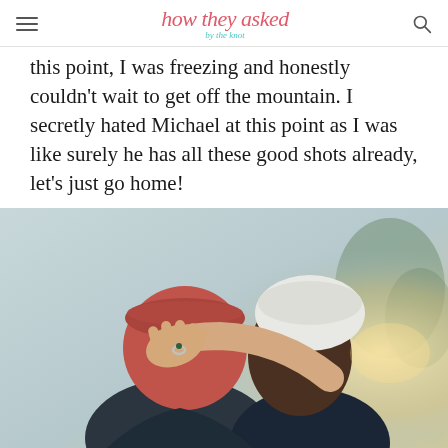how they asked by the knot
this point, I was freezing and honestly couldn't wait to get off the mountain. I secretly hated Michael at this point as I was like surely he has all these good shots already, let's just go home!
[Figure (photo): Couple kissing outdoors in winter, woman's hand showing engagement ring visible against man's red beanie hat. Woman wears white knit hat. Warm golden sunlight in background.]